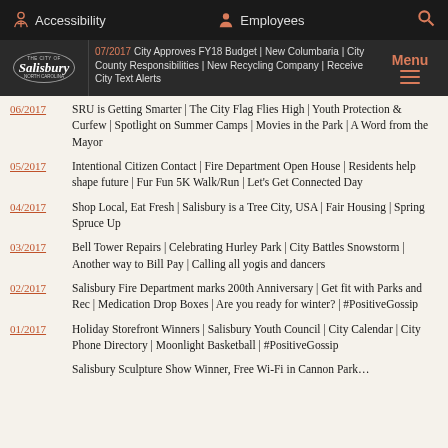Accessibility | Employees | Search
The City of Salisbury | City Approves FY18 Budget | New Columbaria | City County Responsibilities | New Recycling Company | Receive City Text Alerts | Menu
06/2017 — SRU is Getting Smarter | The City Flag Flies High | Youth Protection & Curfew | Spotlight on Summer Camps | Movies in the Park | A Word from the Mayor
05/2017 — Intentional Citizen Contact | Fire Department Open House | Residents help shape future | Fur Fun 5K Walk/Run | Let's Get Connected Day
04/2017 — Shop Local, Eat Fresh | Salisbury is a Tree City, USA | Fair Housing | Spring Spruce Up
03/2017 — Bell Tower Repairs | Celebrating Hurley Park | City Battles Snowstorm | Another way to Bill Pay | Calling all yogis and dancers
02/2017 — Salisbury Fire Department marks 200th Anniversary | Get fit with Parks and Rec | Medication Drop Boxes | Are you ready for winter? | #PositiveGossip
01/2017 — Holiday Storefront Winners | Salisbury Youth Council | City Calendar | City Phone Directory | Moonlight Basketball | #PositiveGossip
Salisbury Sculpture Show Winner, Free Wi-Fi in Cannon Park…